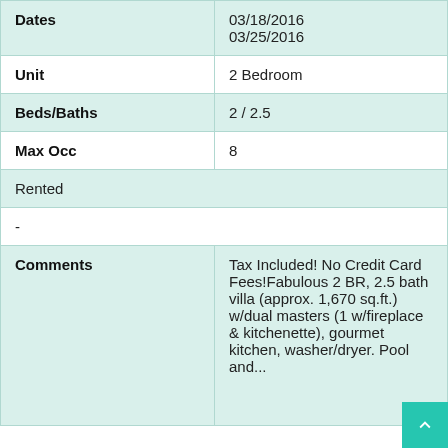| Field | Value |
| --- | --- |
| Dates | 03/18/2016
03/25/2016 |
| Unit | 2 Bedroom |
| Beds/Baths | 2 / 2.5 |
| Max Occ | 8 |
| Rented |  |
| - |  |
| Comments | Tax Included! No Credit Card Fees!Fabulous 2 BR, 2.5 bath villa (approx. 1,670 sq.ft.) w/dual masters (1 w/fireplace & kitchenette), gourmet kitchen, washer/dryer. Pool and... |